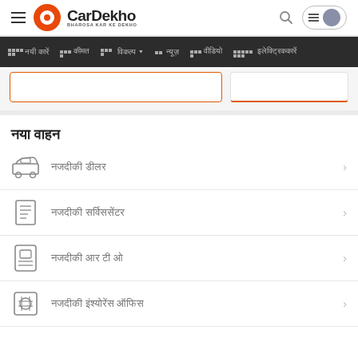CarDekho - BHAROSA KAR KE DEKHO
नया वाहन
नजदीकी डीलर
नजदीकी सर्विससेंटर
नजदीकी आर टी ओ
नजदीकी इंश्योरेंस ऑफिस